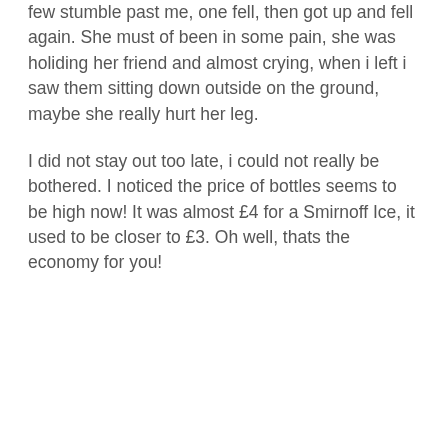few stumble past me, one fell, then got up and fell again. She must of been in some pain, she was holiding her friend and almost crying, when i left i saw them sitting down outside on the ground, maybe she really hurt her leg.
I did not stay out too late, i could not really be bothered. I noticed the price of bottles seems to be high now! It was almost £4 for a Smirnoff Ice, it used to be closer to £3. Oh well, thats the economy for you!